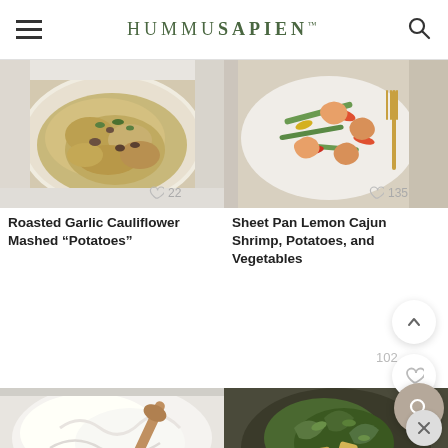HUMMUSAPIEN
[Figure (photo): Roasted garlic cauliflower mashed potatoes in a white bowl, top-down view]
Roasted Garlic Cauliflower Mashed "Potatoes"
[Figure (photo): Sheet pan lemon cajun shrimp with vegetables on a white plate with a gold fork]
Sheet Pan Lemon Cajun Shrimp, Potatoes, and Vegetables
[Figure (photo): White creamy mixture being stirred with a wooden spoon in a baking dish]
[Figure (photo): Dark bowl with kale and roasted vegetables dish, top-down view]